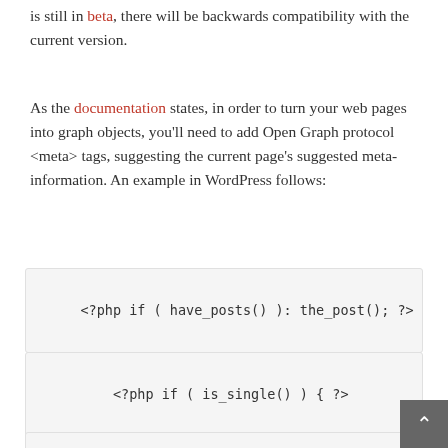is still in beta, there will be backwards compatibility with the current version.
As the documentation states, in order to turn your web pages into graph objects, you'll need to add Open Graph protocol <meta> tags, suggesting the current page's suggested meta-information. An example in WordPress follows:
<?php if ( have_posts() ): the_post(); ?>
<?php if ( is_single() ) { ?>